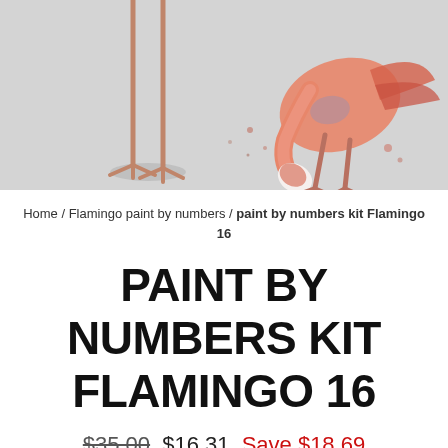[Figure (illustration): Watercolor-style painting of a flamingo bending its neck down, on a light gray background. The flamingo is depicted in orange-red and pink tones with some purple/blue accents.]
Home / Flamingo paint by numbers / paint by numbers kit Flamingo 16
PAINT BY NUMBERS KIT FLAMINGO 16
$35.00  $16.31  Save $18.69